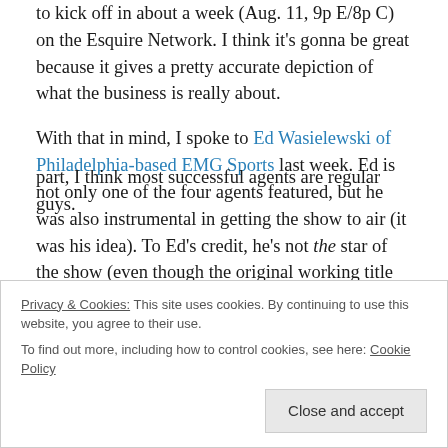to kick off in about a week (Aug. 11, 9p E/8p C) on the Esquire Network. I think it's gonna be great because it gives a pretty accurate depiction of what the business is really about.
With that in mind, I spoke to Ed Wasielewski of Philadelphia-based EMG Sports last week. Ed is not only one of the four agents featured, but he was also instrumental in getting the show to air (it was his idea). To Ed's credit, he's not the star of the show (even though the original working title of the show was 'Agent Ed').
Privacy & Cookies: This site uses cookies. By continuing to use this website, you agree to their use. To find out more, including how to control cookies, see here: Cookie Policy
part, I think most successful agents are regular guys.